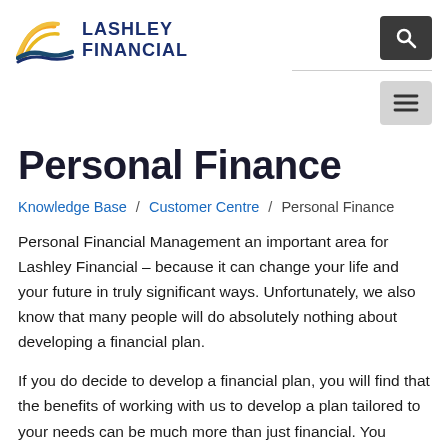[Figure (logo): Lashley Financial logo with sun/wave graphic and bold navy text reading LASHLEY FINANCIAL]
Personal Finance
Knowledge Base / Customer Centre / Personal Finance
Personal Financial Management an important area for Lashley Financial – because it can change your life and your future in truly significant ways. Unfortunately, we also know that many people will do absolutely nothing about developing a financial plan.
If you do decide to develop a financial plan, you will find that the benefits of working with us to develop a plan tailored to your needs can be much more than just financial. You become more in